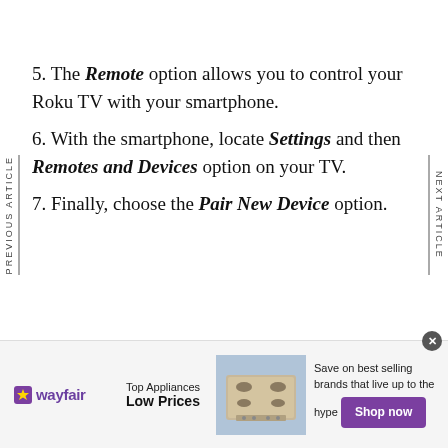5. The Remote option allows you to control your Roku TV with your smartphone.
6. With the smartphone, locate Settings and then Remotes and Devices option on your TV.
7. Finally, choose the Pair New Device option.
[Figure (other): Wayfair advertisement banner: Top Appliances Low Prices with appliance image and Shop now button]